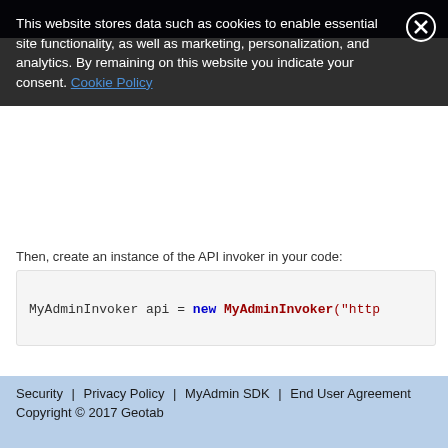This website stores data such as cookies to enable essential site functionality, as well as marketing, personalization, and analytics. By remaining on this website you indicate your consent. Cookie Policy
Then, create an instance of the API invoker in your code:
[Figure (screenshot): Code block showing: MyAdminInvoker api = new MyAdminInvoker("http...]
The parameters required by each method are passed using a Dictionary <string, object>. For example, to authenticate with the API, pass a valid username and password to call the Authenticate method using the code below:
Security | Privacy Policy | MyAdmin SDK | End User Agreement
Copyright © 2017 Geotab